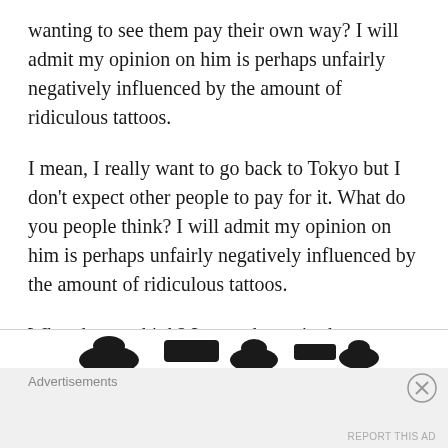wanting to see them pay their own way? I will admit my opinion on him is perhaps unfairly negatively influenced by the amount of ridiculous tattoos.
I mean, I really want to go back to Tokyo but I don't expect other people to pay for it. What do you people think? I will admit my opinion on him is perhaps unfairly negatively influenced by the amount of ridiculous tattoos.
What do you think? Let me know in the comments below.
Advertisements